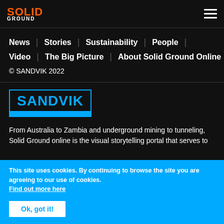SOLID GROUND
News | Stories | Sustainability | People |
Video | The Big Picture | About Solid Ground Online
© SANDVIK 2022
[Figure (logo): Sandvik logo: SANDVIK text in blue with blue rectangle bar beneath, inside a blue border box]
From Australia to Zambia and underground mining to tunneling, Solid Ground online is the visual storytelling portal that serves to
This site uses cookies. By continuing to browse the site you are agreeing to our use of cookies. Find out more here
Ok, got it!